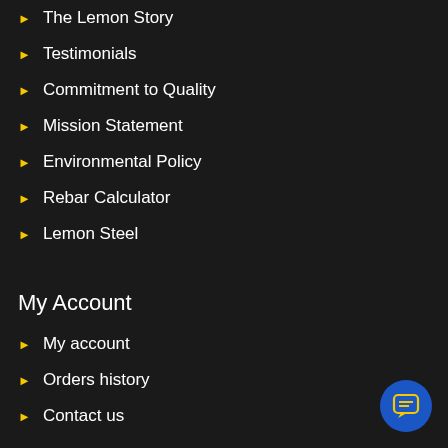The Lemon Story
Testimonials
Commitment to Quality
Mission Statement
Environmental Policy
Rebar Calculator
Lemon Steel
My Account
My account
Orders history
Contact us